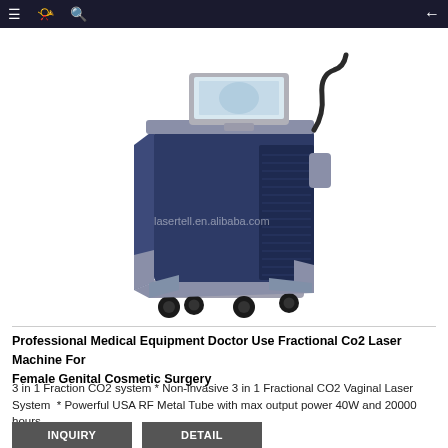Navigation bar with menu, book, search icons and back arrow
[Figure (photo): Professional medical fractional CO2 laser machine on a wheeled cart with a monitor on top. Dark navy/blue and gray color scheme. Watermark: lasertell.en.alibaba.com]
Professional Medical Equipment Doctor Use Fractional Co2 Laser Machine For Female Genital Cosmetic Surgery
3 in 1 Fraction CO2 system * Non-invasive 3 in 1 Fractional CO2 Vaginal Laser System  * Powerful USA RF Metal Tube with max output power 40W and 20000 hours
INQUIRY
DETAIL